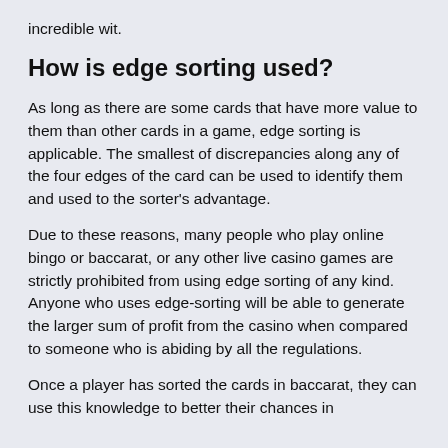incredible wit.
How is edge sorting used?
As long as there are some cards that have more value to them than other cards in a game, edge sorting is applicable. The smallest of discrepancies along any of the four edges of the card can be used to identify them and used to the sorter's advantage.
Due to these reasons, many people who play online bingo or baccarat, or any other live casino games are strictly prohibited from using edge sorting of any kind. Anyone who uses edge-sorting will be able to generate the larger sum of profit from the casino when compared to someone who is abiding by all the regulations.
Once a player has sorted the cards in baccarat, they can use this knowledge to better their chances in